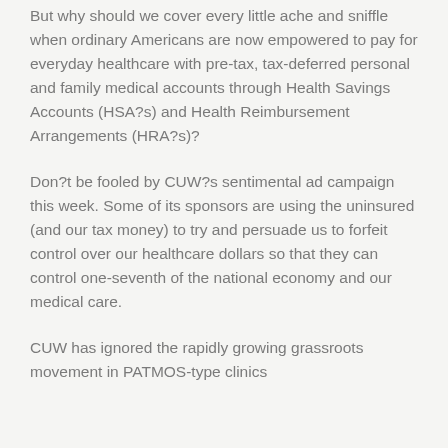But why should we cover every little ache and sniffle when ordinary Americans are now empowered to pay for everyday healthcare with pre-tax, tax-deferred personal and family medical accounts through Health Savings Accounts (HSA?s) and Health Reimbursement Arrangements (HRA?s)?
Don?t be fooled by CUW?s sentimental ad campaign this week. Some of its sponsors are using the uninsured (and our tax money) to try and persuade us to forfeit control over our healthcare dollars so that they can control one-seventh of the national economy and our medical care.
CUW has ignored the rapidly growing grassroots movement in PATMOS-type clinics